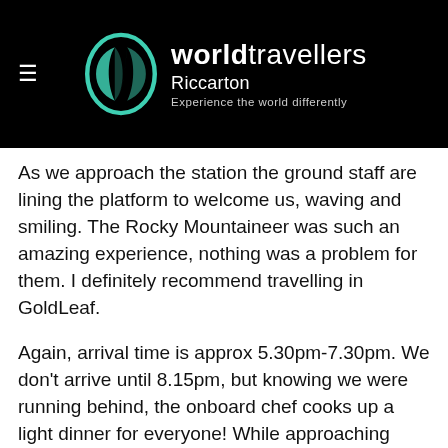world travellers Riccarton – Experience the world differently
As we approach the station the ground staff are lining the platform to welcome us, waving and smiling. The Rocky Mountaineer was such an amazing experience, nothing was a problem for them. I definitely recommend travelling in GoldLeaf.
Again, arrival time is approx 5.30pm-7.30pm. We don't arrive until 8.15pm, but knowing we were running behind, the onboard chef cooks up a light dinner for everyone! While approaching Vancouver the staff thank us for being an awesome group and they take us through a short yoga session to get everyone limbered up for disembarkation and help stay "limber"